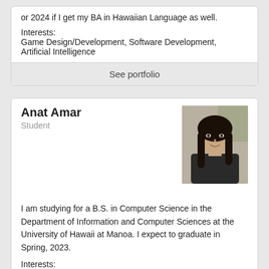or 2024 if I get my BA in Hawaiian Language as well.
Interests:
Game Design/Development, Software Development, Artificial Intelligence
See portfolio
Anat Amar
Student
[Figure (photo): Portrait photo of Anat Amar, a young woman with long dark hair, smiling, wearing dark clothing, outdoors background]
I am studying for a B.S. in Computer Science in the Department of Information and Computer Sciences at the University of Hawaii at Manoa. I expect to graduate in Spring, 2023.
Interests:
Software Engineering, Web Application, artificial intelligence